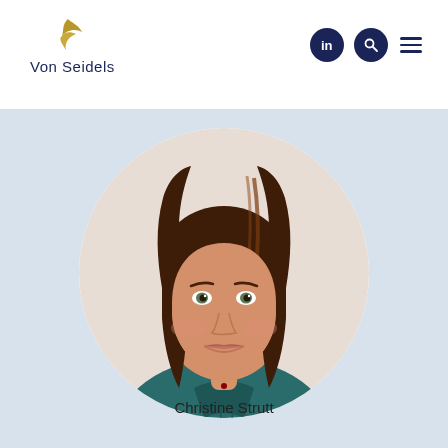[Figure (logo): Von Seidels law firm logo with golden bird/wing mark and dark blue text]
[Figure (photo): Professional portrait of Christine Strutt, a woman with long brown hair wearing a teal/dark green blouse, shown in a circular white frame against a light blue-grey background]
Christine Strutt